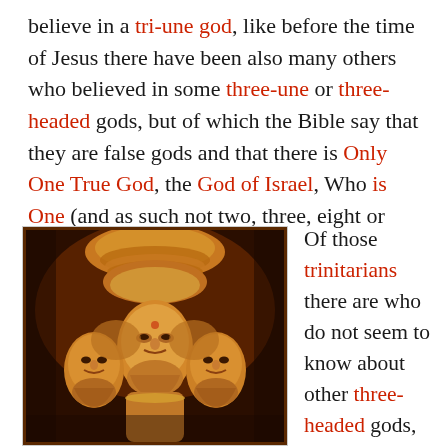believe in a tri-une god, like before the time of Jesus there have been also many others who believed in some three-une or three-headed gods, but of which the Bible say that they are false gods and that there is Only One True God, the God of Israel, Who is One (and as such not two, three, eight or more).
[Figure (photo): A painting depicting a three-headed Hindu deity (Brahma or similar), showing three golden/orange faces with ornate headdresses against a dark reddish-brown background.]
Of those trinitarians there are who do not seem to know about other three-headed gods, and